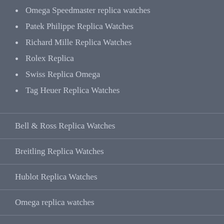Omega Speedmaster replica watches
Patek Philippe Replica Watches
Richard Mille Replica Watches
Rolex Replica
Swiss Replica Omega
Tag Heuer Replica Watches
Bell & Ross Replica Watches
Breitling Replica Watches
Hublot Replica Watches
Omega replica watches
Patek Philippe Replica Watches